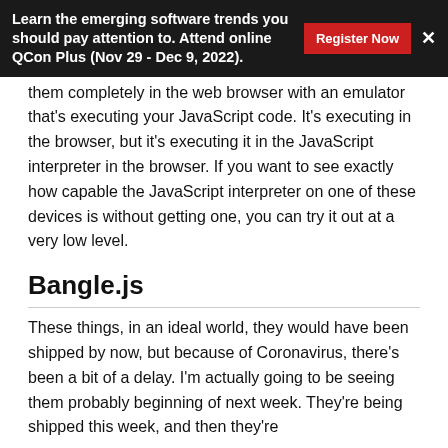Learn the emerging software trends you should pay attention to. Attend online QCon Plus (Nov 29 - Dec 9, 2022).
them completely in the web browser with an emulator that's executing your JavaScript code. It's executing in the browser, but it's executing it in the JavaScript interpreter in the browser. If you want to see exactly how capable the JavaScript interpreter on one of these devices is without getting one, you can try it out at a very low level.
Bangle.js
These things, in an ideal world, they would have been shipped by now, but because of Coronavirus, there's been a bit of a delay. I'm actually going to be seeing them probably beginning of next week. They're being shipped this week, and then they're